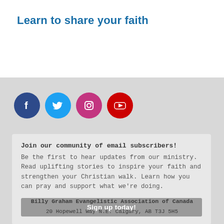Learn to share your faith
[Figure (other): Social media icons: Facebook, Twitter, Instagram, YouTube]
Join our community of email subscribers!
Be the first to hear updates from our ministry. Read uplifting stories to inspire your faith and strengthen your Christian walk. Learn how you can pray and support what we're doing.
Sign up today!
Billy Graham Evangelistic Association of Canada
20 Hopewell Way N.E. Calgary, AB T3J 5H5